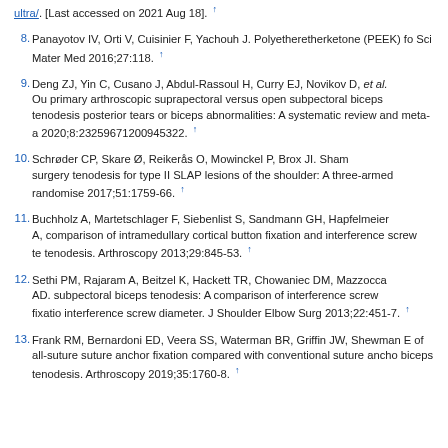ultra/. [Last accessed on 2021 Aug 18]. ↑
8. Panayotov IV, Orti V, Cuisinier F, Yachouh J. Polyetheretherketone (PEEK) fo... Sci Mater Med 2016;27:118. ↑
9. Deng ZJ, Yin C, Cusano J, Abdul-Rassoul H, Curry EJ, Novikov D, et al. Ou... primary arthroscopic suprapectoral versus open subpectoral biceps tenodesis posterior tears or biceps abnormalities: A systematic review and meta-a... 2020;8:23259671200945322. ↑
10. Schrøder CP, Skare Ø, Reikerås O, Mowinckel P, Brox JI. Sham surgery... tenodesis for type II SLAP lesions of the shoulder: A three-armed randomise... 2017;51:1759-66. ↑
11. Buchholz A, Martetschlager F, Siebenlist S, Sandmann GH, Hapfelmeier A,... comparison of intramedullary cortical button fixation and interference screw te... tenodesis. Arthroscopy 2013;29:845-53. ↑
12. Sethi PM, Rajaram A, Beitzel K, Hackett TR, Chowaniec DM, Mazzocca AD.... subpectoral biceps tenodesis: A comparison of interference screw fixation... interference screw diameter. J Shoulder Elbow Surg 2013;22:451-7. ↑
13. Frank RM, Bernardoni ED, Veera SS, Waterman BR, Griffin JW, Shewman E... of all-suture suture anchor fixation compared with conventional suture ancho... biceps tenodesis. Arthroscopy 2019;35:1760-8. ↑